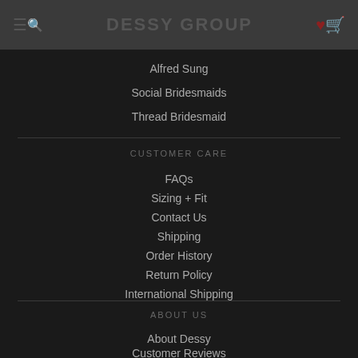DESSY GROUP
Alfred Sung
Social Bridesmaids
Thread Bridesmaid
CUSTOMER CARE
FAQs
Sizing + Fit
Contact Us
Shipping
Order History
Return Policy
International Shipping
ABOUT US
About Dessy
Customer Reviews
Press Releases